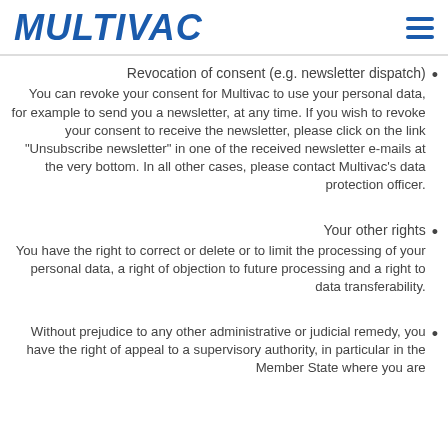MULTIVAC
Revocation of consent (e.g. newsletter dispatch)
You can revoke your consent for Multivac to use your personal data, for example to send you a newsletter, at any time. If you wish to revoke your consent to receive the newsletter, please click on the link "Unsubscribe newsletter" in one of the received newsletter e-mails at the very bottom. In all other cases, please contact Multivac's data protection officer.
Your other rights
You have the right to correct or delete or to limit the processing of your personal data, a right of objection to future processing and a right to data transferability.
Without prejudice to any other administrative or judicial remedy, you have the right of appeal to a supervisory authority, in particular in the Member State where you are